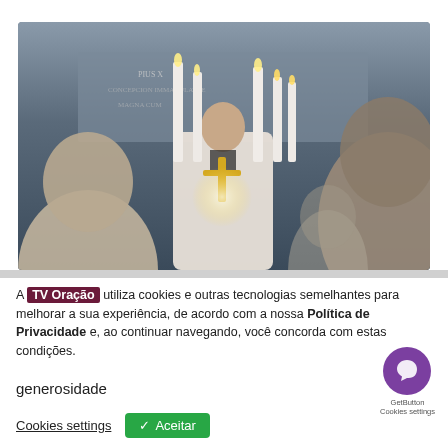[Figure (photo): Religious ceremony photo showing a priest in white vestments holding a golden candelabra at an altar, with tall white candles lit, viewed from behind seated attendees. Background shows an ornate church interior with Latin inscriptions.]
A TV Oração utiliza cookies e outras tecnologias semelhantes para melhorar a sua experiência, de acordo com a nossa Política de Privacidade e, ao continuar navegando, você concorda com estas condições.
generosidade
Cookies settings   ✓ Aceitar   GetButton Cookies settings